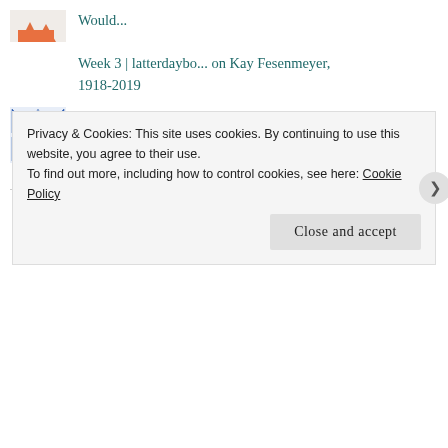Would...
Week 3 | latterdaybo... on Kay Fesenmeyer, 1918-2019
[Figure (illustration): Blue geometric quilt-pattern avatar icon]
Sarah Mac on Strange Days
Archives
February 2022
Privacy & Cookies: This site uses cookies. By continuing to use this website, you agree to their use. To find out more, including how to control cookies, see here: Cookie Policy
Close and accept